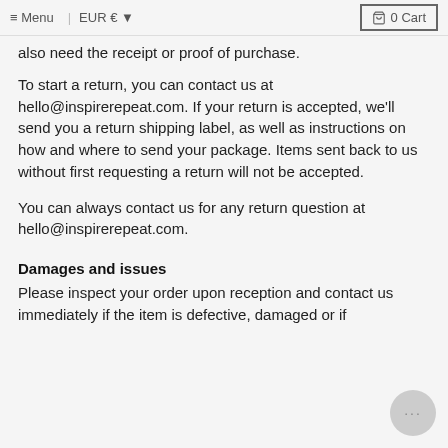≡ Menu | EUR € ▾   🛒 0 Cart
also need the receipt or proof of purchase.
To start a return, you can contact us at hello@inspirerepeat.com. If your return is accepted, we'll send you a return shipping label, as well as instructions on how and where to send your package. Items sent back to us without first requesting a return will not be accepted.
You can always contact us for any return question at hello@inspirerepeat.com.
Damages and issues
Please inspect your order upon reception and contact us immediately if the item is defective, damaged or if